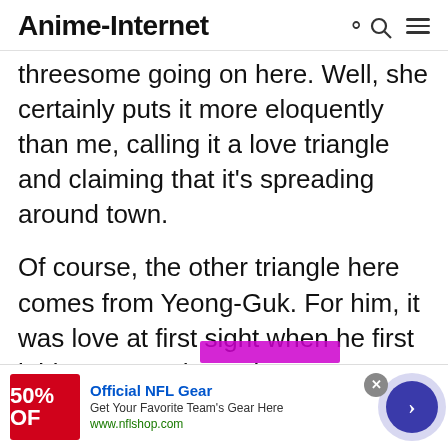Anime-Internet
threesome going on here. Well, she certainly puts it more eloquently than me, calling it a love triangle and claiming that it's spreading around town.
Of course, the other triangle here comes from Yeong-Guk. For him, it was love at first sight when he first laid eyes on Cho-Hui. Or, as Nam-Soo calls it, the Bermuda Love
[Figure (infographic): Advertisement banner: NFL gear, 50% OFF, Official NFL Gear, Get Your Favorite Team's Gear Here, www.nflshop.com, with close button and arrow button]